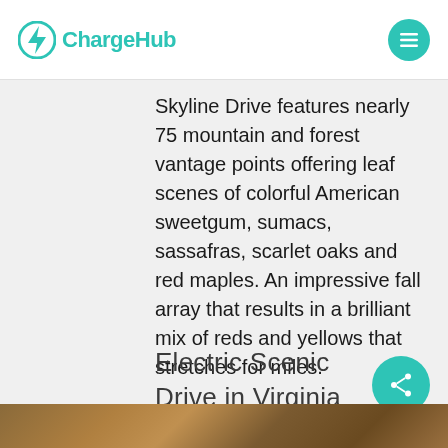ChargeHub
Skyline Drive features nearly 75 mountain and forest vantage points offering leaf scenes of colorful American sweetgum, sumacs, sassafras, scarlet oaks and red maples. An impressive fall array that results in a brilliant mix of reds and yellows that stretches for miles.
Electric Scenic Drive in Virginia
[Figure (photo): Bottom strip showing autumn foliage colors in browns and golds]